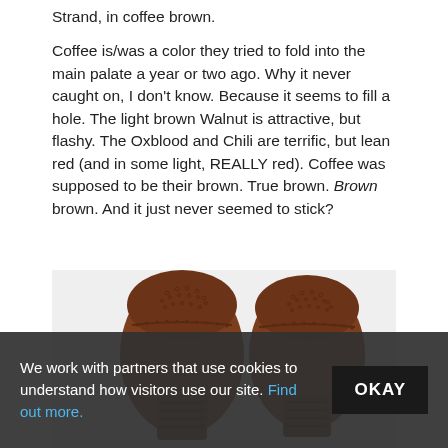Strand, in coffee brown.
Coffee is/was a color they tried to fold into the main palate a year or two ago. Why it never caught on, I don't know. Because it seems to fill a hole. The light brown Walnut is attractive, but flashy. The Oxblood and Chili are terrific, but lean red (and in some light, REALLY red). Coffee was supposed to be their brown. True brown. Brown brown. And it just never seemed to stick?
[Figure (photo): Top-down view of two brown leather brogue dress shoes (Allen Edmonds Strand) in coffee brown color, showing detailed perforations and wingtip broguing pattern on a light grey background.]
We work with partners that use cookies to understand how visitors use our site. Find out more.